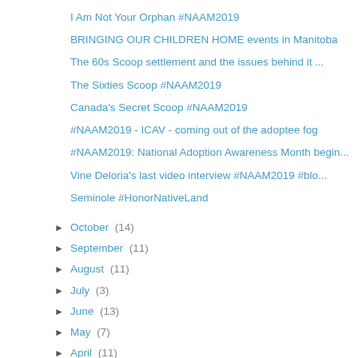I Am Not Your Orphan #NAAM2019
BRINGING OUR CHILDREN HOME events in Manitoba
The 60s Scoop settlement and the issues behind it ...
The Sixties Scoop #NAAM2019
Canada's Secret Scoop #NAAM2019
#NAAM2019 - ICAV - coming out of the adoptee fog
#NAAM2019: National Adoption Awareness Month begin...
Vine Deloria's last video interview #NAAM2019 #blo...
Seminole #HonorNativeLand
► October (14)
► September (11)
► August (11)
► July (3)
► June (13)
► May (7)
► April (11)
► March (13)
► February (9)
► January (13)